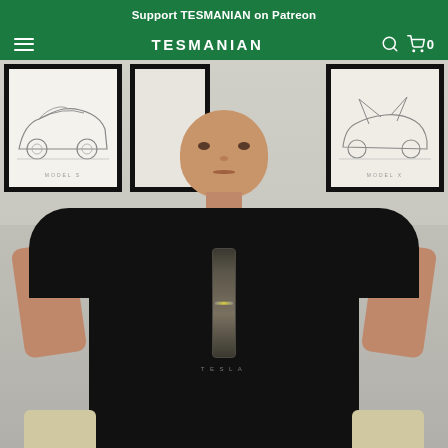Support TESMANIAN on Patreon
TESMANIAN
[Figure (photo): A man wearing a black Tesla t-shirt with a door handle graphic sits in front of framed Tesla car design sketches on the wall. The left frame shows a Model S sketch, the middle frame shows another design, and the right frame shows a Tesla with doors open.]